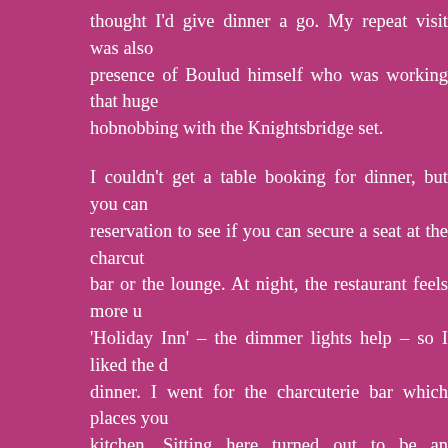thought I'd give dinner a go. My repeat visit was also presence of Boulud himself who was working that huge hobnobbing with the Knightsbridge set.
I couldn't get a table booking for dinner, but you can reservation to see if you can secure a seat at the charcut bar or the lounge. At night, the restaurant feels more u 'Holiday Inn' – the dimmer lights help – so I liked the dinner. I went for the charcuterie bar which places you kitchen. Sitting here turned out to be an interesting expe expected to see what I got to see. It seems that one of the of licking the spoon he uses to plate food with. This wo washed the spoon after each use, but he didn't, so some an added ingredient known as chef's saliva. I watche interest for at least 30 minutes, and in that time frame made it into his mouth countless times but only got w Hopefully this practice will be eliminated for we quietly management...
Thankfully the above mentioned chef had no hand (or sali